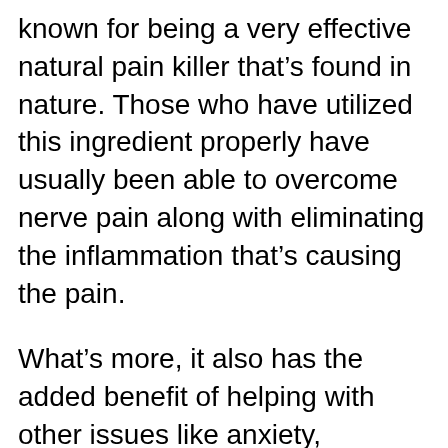known for being a very effective natural pain killer that's found in nature. Those who have utilized this ingredient properly have usually been able to overcome nerve pain along with eliminating the inflammation that's causing the pain.
What's more, it also has the added benefit of helping with other issues like anxiety, insomnia, and anything else that might be bringing our health down. Overall, using this ingredient can help us to relax, sleep properly, and bring our stress levels down.